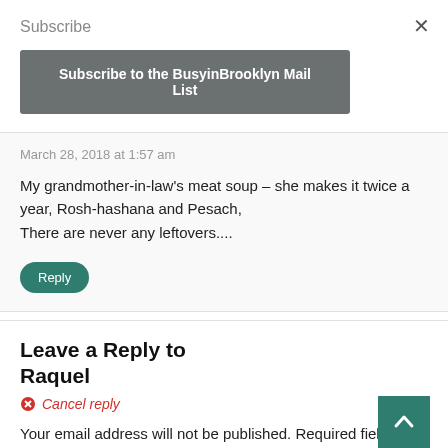×
Subscribe
Subscribe to the BusyinBrooklyn Mail List
March 28, 2018 at 1:57 am
My grandmother-in-law's meat soup – she makes it twice a year, Rosh-hashana and Pesach, There are never any leftovers....
Reply
Leave a Reply to Raquel
Cancel reply
Your email address will not be published. Required fields are marked *